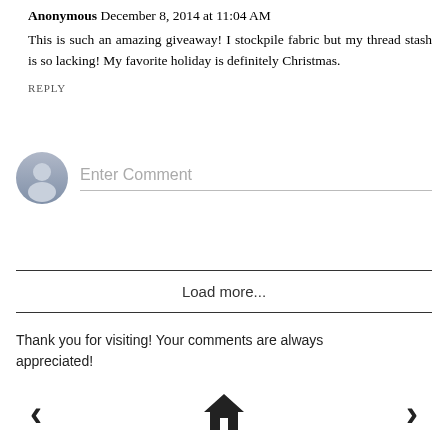Anonymous December 8, 2014 at 11:04 AM
This is such an amazing giveaway! I stockpile fabric but my thread stash is so lacking! My favorite holiday is definitely Christmas.
REPLY
[Figure (other): User avatar placeholder icon — gray circle with silhouette]
Enter Comment
Load more...
Thank you for visiting! Your comments are always appreciated!
[Figure (other): Navigation bar with left arrow, home icon, and right arrow]